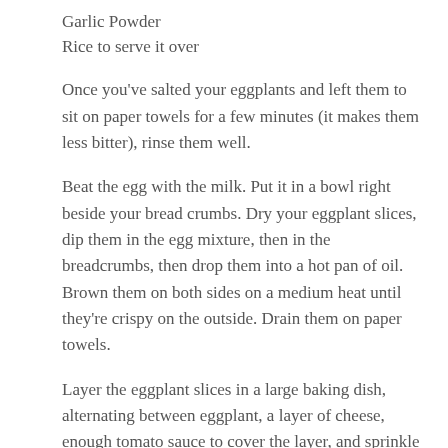Garlic Powder
Rice to serve it over
Once you've salted your eggplants and left them to sit on paper towels for a few minutes (it makes them less bitter), rinse them well.
Beat the egg with the milk. Put it in a bowl right beside your bread crumbs. Dry your eggplant slices, dip them in the egg mixture, then in the breadcrumbs, then drop them into a hot pan of oil. Brown them on both sides on a medium heat until they're crispy on the outside. Drain them on paper towels.
Layer the eggplant slices in a large baking dish, alternating between eggplant, a layer of cheese, enough tomato sauce to cover the layer, and sprinkle the tomato sauce with some garlic powder. Repeat until your pan is full. Top with lots of parmesan cheese. Bake until bubbly. Serve over rice